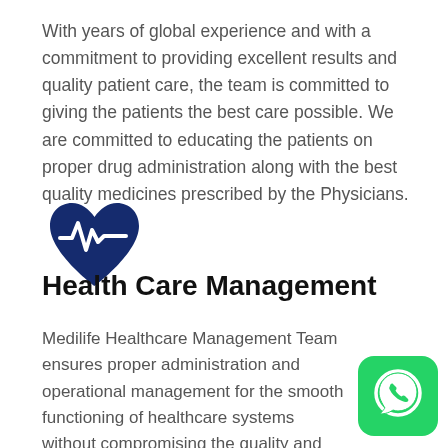With years of global experience and with a commitment to providing excellent results and quality patient care, the team is committed to giving the patients the best care possible. We are committed to educating the patients on proper drug administration along with the best quality medicines prescribed by the Physicians.
[Figure (illustration): Dark navy blue heart with a heartbeat/pulse line icon]
Health Care Management
Medilife Healthcare Management Team ensures proper administration and operational management for the smooth functioning of healthcare systems without compromising the quality and value through proper training and orientations.
[Figure (logo): WhatsApp green button icon in bottom right corner]